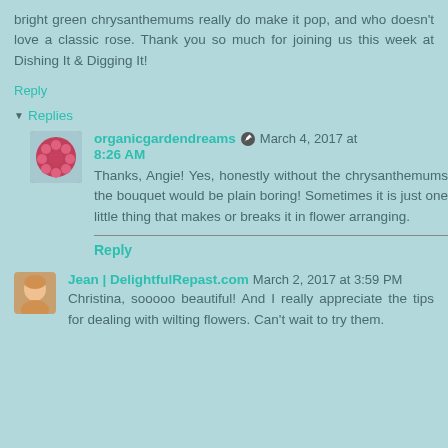bright green chrysanthemums really do make it pop, and who doesn't love a classic rose. Thank you so much for joining us this week at Dishing It & Digging It!
Reply
Replies
organicgardendreams  March 4, 2017 at 8:26 AM
Thanks, Angie! Yes, honestly without the chrysanthemums the bouquet would be plain boring! Sometimes it is just one little thing that makes or breaks it in flower arranging.
Reply
Jean | DelightfulRepast.com  March 2, 2017 at 3:59 PM
Christina, sooooo beautiful! And I really appreciate the tips for dealing with wilting flowers. Can't wait to try them.